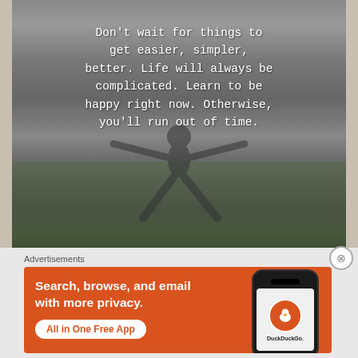[Figure (photo): Black and white photo of a young girl joyfully jumping/running with arms spread wide, mouth open, in the rain or sprinklers on grass. Overlaid with a motivational quote in white monospace text.]
Don't wait for things to get easier, simpler, better. Life will always be complicated. Learn to be happy right now. Otherwise, you'll run out of time.
Advertisements
[Figure (screenshot): DuckDuckGo advertisement banner with orange background. Left side shows text 'Search, browse, and email with more privacy.' and a white pill button 'All in One Free App'. Right side shows a phone mockup displaying the DuckDuckGo logo (duck icon in orange circle) and the text 'DuckDuckGo.']